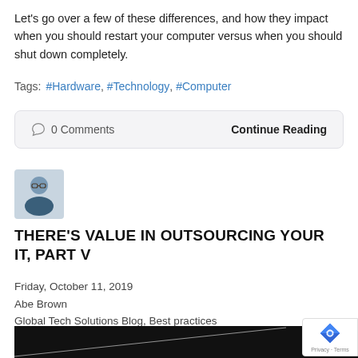Let's go over a few of these differences, and how they impact when you should restart your computer versus when you should shut down completely.
Tags: #Hardware, #Technology, #Computer
0 Comments    Continue Reading
[Figure (photo): Author headshot: man with glasses in a dark jacket]
THERE'S VALUE IN OUTSOURCING YOUR IT, PART V
Friday, October 11, 2019
Abe Brown
Global Tech Solutions Blog, Best practices
[Figure (photo): Dark background image with diagonal light streak]